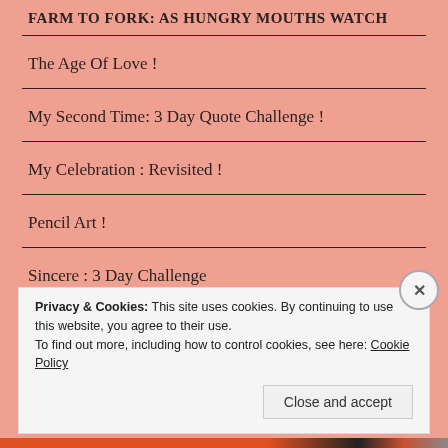FARM TO FORK: AS HUNGRY MOUTHS WATCH
The Age Of Love !
My Second Time: 3 Day Quote Challenge !
My Celebration : Revisited !
Pencil Art !
Sincere : 3 Day Challenge
King Tut !
Privacy & Cookies: This site uses cookies. By continuing to use this website, you agree to their use.
To find out more, including how to control cookies, see here: Cookie Policy
Close and accept